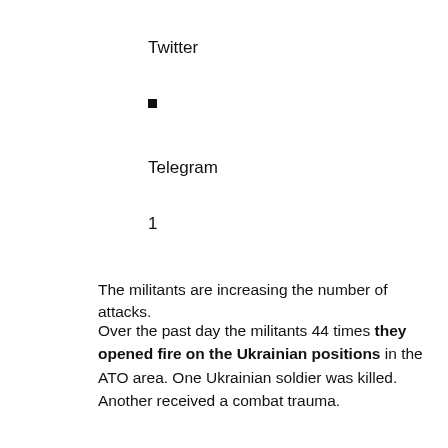Twitter
■
Telegram
1
The militants are increasing the number of attacks.
Over the past day the militants 44 times they opened fire on the Ukrainian positions in the ATO area. One Ukrainian soldier was killed. Another received a combat trauma.
See also:
In the sea of Azov militants shelling of civilian cars and doctors, "con" APU to the OSCE
It is reported by the ATO headquarters.